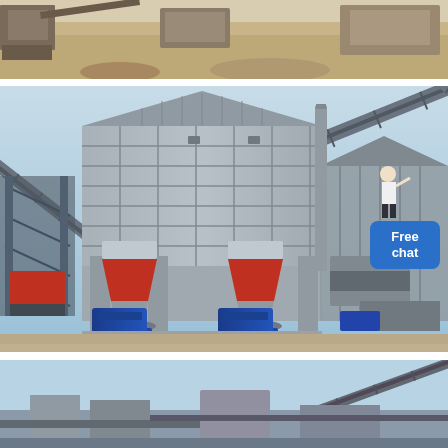[Figure (photo): Aerial/ground view of a quarry or mining site showing earthmoving equipment and vehicles on sandy/desert terrain. Partial top strip image.]
[Figure (photo): Industrial cone crusher plant facility with large steel-framed building housing multiple cone crushers, conveyor belts running diagonally, support columns, blue electric motors, and a 'Free chat' button overlay with a person icon. Clear sky background, desert quarry setting.]
[Figure (photo): Partial bottom strip showing another industrial plant or quarry facility with conveyor structures against a blue sky.]